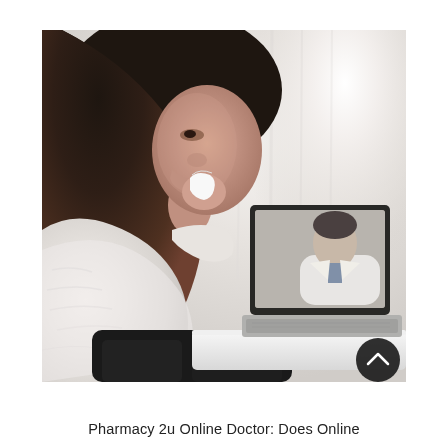[Figure (photo): A woman wrapped in a white fluffy blanket/sweater holds a tissue to her nose, appearing sick, while looking at a laptop screen showing a doctor in a white coat during a video consultation.]
Pharmacy 2u Online Doctor: Does Online